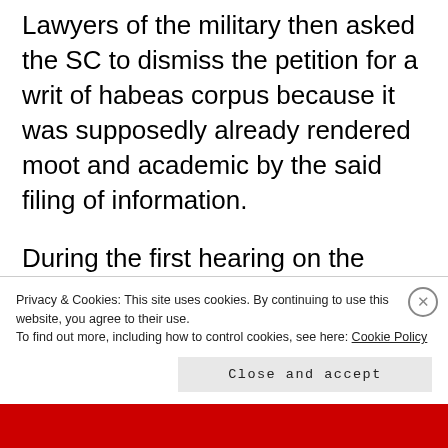Lawyers of the military then asked the SC to dismiss the petition for a writ of habeas corpus because it was supposedly already rendered moot and academic by the said filing of information.
During the first hearing on the habeas corpus petition on May 23, 1985 the SC actually ordered the immediate release of the detained lawyers on recognizance
Privacy & Cookies: This site uses cookies. By continuing to use this website, you agree to their use. To find out more, including how to control cookies, see here: Cookie Policy
Close and accept